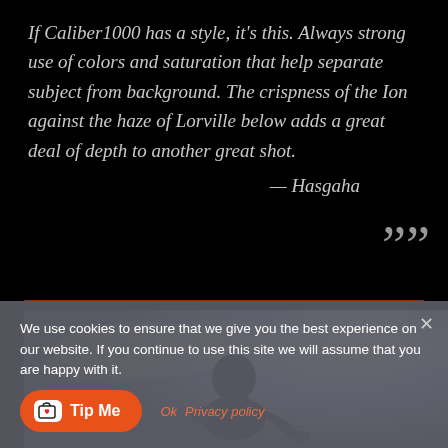If Caliber1000 has a style, it's this. Always strong use of colors and saturation that help separate subject from background. The crispness of the Ion against the haze of Lorville below adds a great deal of depth to another great shot.
— Hasgaha
[Figure (photo): A figure in space suit or armor photographed against a dramatic sky with clouds and bright light]
We use cookies to ensure that we give you the best experience on our website. If you continue to use this site we will assume that you are happy with it.
Ok  Privacy policy